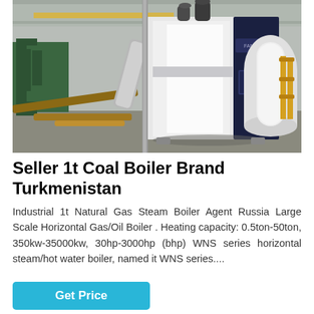[Figure (photo): Industrial boiler (white and dark blue, large horizontal/vertical unit) inside a manufacturing warehouse/factory floor. Various pipes, equipment and machinery visible in background.]
Seller 1t Coal Boiler Brand Turkmenistan
Industrial 1t Natural Gas Steam Boiler Agent Russia Large Scale Horizontal Gas/Oil Boiler . Heating capacity: 0.5ton-50ton, 350kw-35000kw, 30hp-3000hp (bhp) WNS series horizontal steam/hot water boiler, named it WNS series....
Get Price